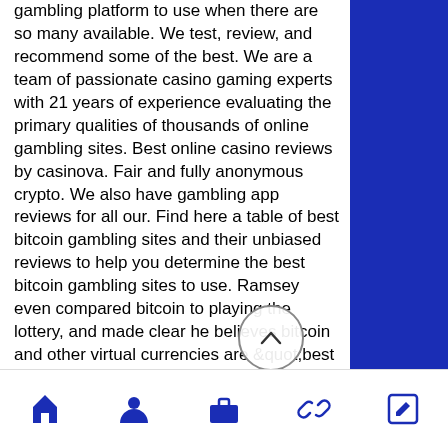gambling platform to use when there are so many available. We test, review, and recommend some of the best. We are a team of passionate casino gaming experts with 21 years of experience evaluating the primary qualities of thousands of online gambling sites. Best online casino reviews by casinova. Fair and fully anonymous crypto. We also have gambling app reviews for all our. Find here a table of best bitcoin gambling sites and their unbiased reviews to help you determine the best bitcoin gambling sites to use. Ramsey even compared bitcoin to playing the lottery, and made clear he believes bitcoin and other virtual currencies are &quot;best known for two
For example, your second deposit will 100% match up bonus of up to $80 while the first will be a special Nostalgia Casino $1 deposit bonus of up to $20. The wagering
[Figure (other): Scroll-to-top circular button with upward chevron arrow]
Navigation bar with home, user, briefcase, link, and edit icons